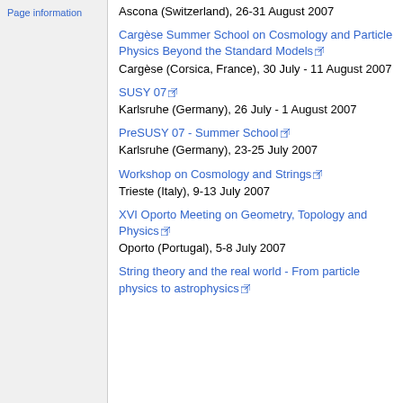Page information
Ascona (Switzerland), 26-31 August 2007
Cargèse Summer School on Cosmology and Particle Physics Beyond the Standard Models
Cargèse (Corsica, France), 30 July - 11 August 2007
SUSY 07
Karlsruhe (Germany), 26 July - 1 August 2007
PreSUSY 07 - Summer School
Karlsruhe (Germany), 23-25 July 2007
Workshop on Cosmology and Strings
Trieste (Italy), 9-13 July 2007
XVI Oporto Meeting on Geometry, Topology and Physics
Oporto (Portugal), 5-8 July 2007
String theory and the real world - From particle physics to astrophysics